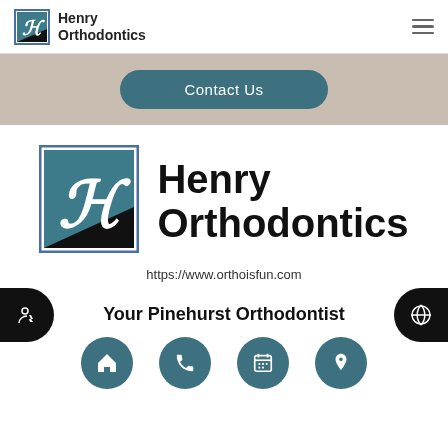[Figure (logo): Henry Orthodontics logo in navbar with stylized H in teal/black box]
Henry Orthodontics
Contact Us
[Figure (logo): Henry Orthodontics large logo with stylized H in teal/black bordered box]
Henry Orthodontics
https://www.orthoisfun.com
Your Pinehurst Orthodontist
[Figure (infographic): Bottom navigation bar with home, phone, calendar, and location icon buttons in teal circles]